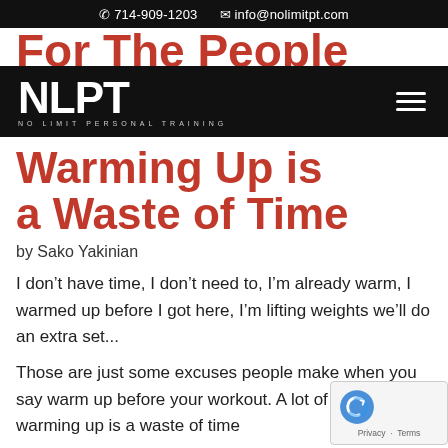714-909-1203  info@nolimitpt.com
[Figure (logo): NLPT No Limit Personal Training logo in white on black background with hamburger menu icon]
For The People Who Think Warming Up is a Waste of Time
by Sako Yakinian
I don't have time, I don't need to, I'm already warm, I warmed up before I got here, I'm lifting weights we'll do an extra set...
Those are just some excuses people make when you say warm up before your workout. A lot of you think warming up is a waste of time